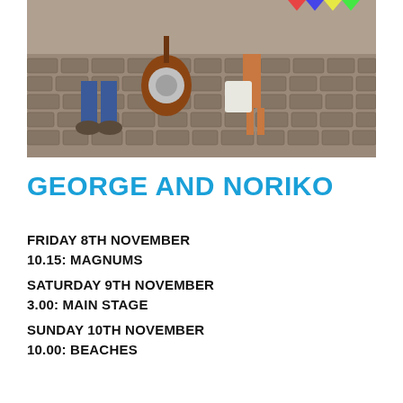[Figure (photo): Photo of musicians on cobblestone street with instruments including a resonator guitar]
GEORGE AND NORIKO
FRIDAY 8TH NOVEMBER
10.15: MAGNUMS
SATURDAY 9TH NOVEMBER
3.00: MAIN STAGE
SUNDAY 10TH NOVEMBER
10.00: BEACHES